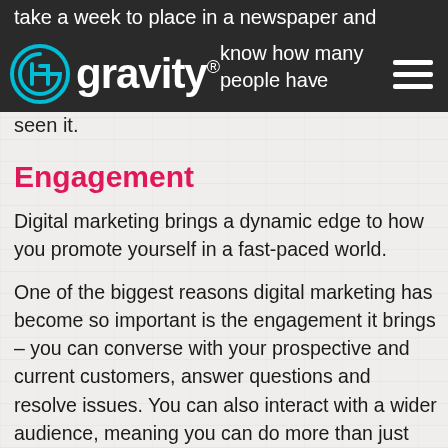take a week to place in a newspaper and know how many people have seen it.
[Figure (logo): Gravity digital marketing logo — circular icon with G and H letters intertwined in teal/cyan, followed by bold white text 'gravity' with registered trademark symbol]
seen it.
Engagement
Digital marketing brings a dynamic edge to how you promote yourself in a fast-paced world.
One of the biggest reasons digital marketing has become so important is the engagement it brings – you can converse with your prospective and current customers, answer questions and resolve issues. You can also interact with a wider audience, meaning you can do more than just sell.